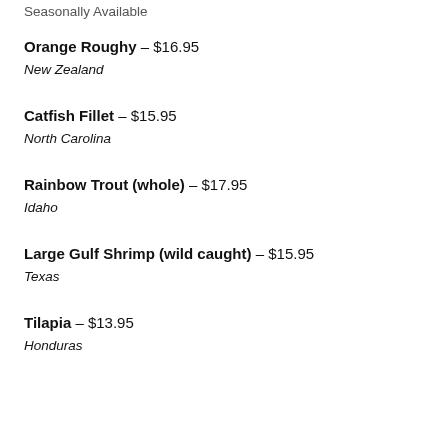Seasonally Available
Orange Roughy – $16.95
New Zealand
Catfish Fillet – $15.95
North Carolina
Rainbow Trout (whole) – $17.95
Idaho
Large Gulf Shrimp (wild caught) – $15.95
Texas
Tilapia – $13.95
Honduras